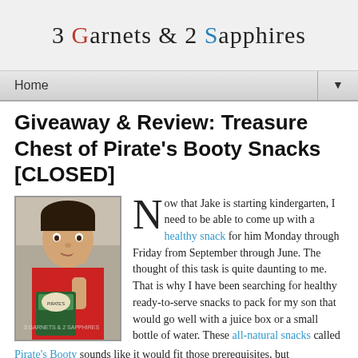3 Garnets & 2 Sapphires
Home
Giveaway & Review: Treasure Chest of Pirate's Booty Snacks [CLOSED]
[Figure (photo): Young boy in red shirt eating a snack and holding a Pirate's Booty box]
Now that Jake is starting kindergarten, I need to be able to come up with a healthy snack for him Monday through Friday from September through June. The thought of this task is quite daunting to me. That is why I have been searching for healthy ready-to-serve snacks to pack for my son that would go well with a juice box or a small bottle of water. These all-natural snacks called Pirate's Booty sounds like it would fit those prerequisites, but